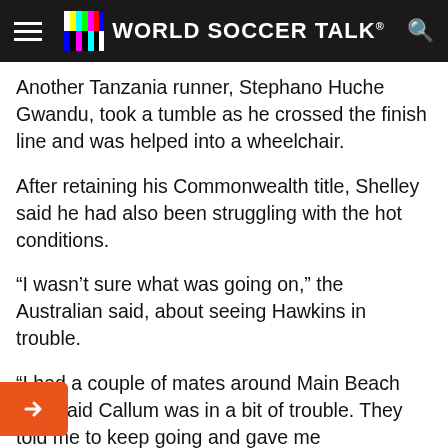WORLD SOCCER TALK
Another Tanzania runner, Stephano Huche Gwandu, took a tumble as he crossed the finish line and was helped into a wheelchair.
After retaining his Commonwealth title, Shelley said he had also been struggling with the hot conditions.
“I wasn’t sure what was going on,” the Australian said, about seeing Hawkins in trouble.
“I had a couple of mates around Main Beach who said Callum was in a bit of trouble. They told me to keep going and gave me encouragement.
“I saw him and just tried to hang on. When I was coming down the home straight I tried to accelerate and I was just gone.”